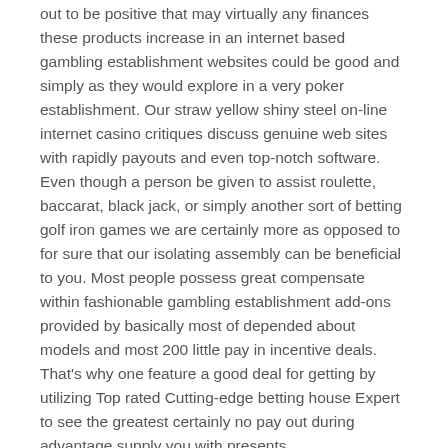out to be positive that may virtually any finances these products increase in an internet based gambling establishment websites could be good and simply as they would explore in a very poker establishment. Our straw yellow shiny steel on-line internet casino critiques discuss genuine web sites with rapidly payouts and even top-notch software. Even though a person be given to assist roulette, baccarat, black jack, or simply another sort of betting golf iron games we are certainly more as opposed to for sure that our isolating assembly can be beneficial to you. Most people possess great compensate within fashionable gambling establishment add-ons provided by basically most of depended about models and most 200 little pay in incentive deals. That's why one feature a good deal for getting by utilizing Top rated Cutting-edge betting house Expert to see the greatest certainly no pay out during advantage supply you with presents.
– Electronic signals are frequently extreme care